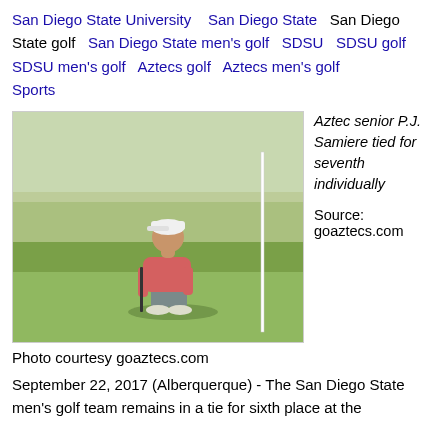San Diego State University   San Diego State   San Diego State golf   San Diego State men's golf   SDSU   SDSU golf   SDSU men's golf   Aztecs golf   Aztecs men's golf   Sports
[Figure (photo): A golfer crouching on a golf green, wearing a pink shirt and white cap, studying a putt. A white flag pole is visible in the background. Grass is the main background.]
Aztec senior P.J. Samiere tied for seventh individually
Source: goaztecs.com
Photo courtesy goaztecs.com
September 22, 2017 (Alberquerque) - The San Diego State men's golf team remains in a tie for sixth place at the